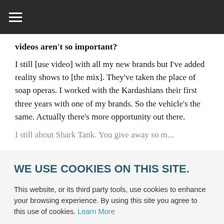≡
videos aren't so important?
I still [use video] with all my new brands but I've added reality shows to [the mix]. They've taken the place of soap operas. I worked with the Kardashians their first three years with one of my brands. So the vehicle's the same. Actually there's more opportunity out there.
WE USE COOKIES ON THIS SITE.
This website, or its third party tools, use cookies to enhance your browsing experience. By using this site you agree to this use of cookies. Learn More
ACCEPT